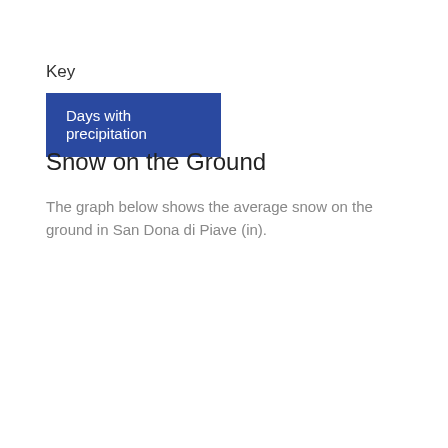Key
Days with precipitation
Snow on the Ground
The graph below shows the average snow on the ground in San Dona di Piave (in).